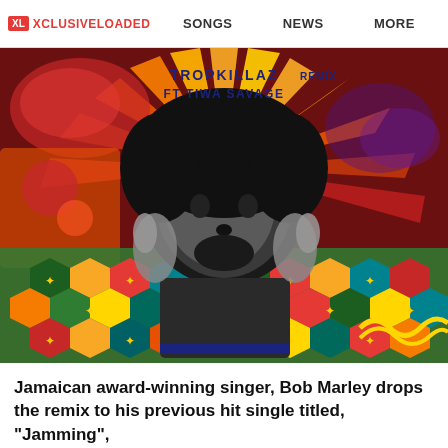XL XCLUSIVELOADED   SONGS   NEWS   MORE
[Figure (photo): Colorful album art featuring a black and white photo of Bob Marley with hands raised, set against a vibrant multicolored background with geometric hexagonal patterns, swirls, and rays. Text at top reads: TROPKILLAZ REMIX FT TIWA SAVAGE]
Jamaican award-winning singer, Bob Marley drops the remix to his previous hit single titled, “Jamming”,